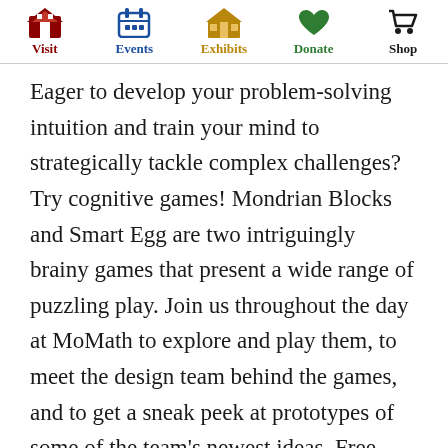Visit | Events | Exhibits | Donate | Shop
Eager to develop your problem-solving intuition and train your mind to strategically tackle complex challenges?  Try cognitive games!  Mondrian Blocks and Smart Egg are two intriguingly brainy games that present a wide range of puzzling play.  Join us throughout the day at MoMath to explore and play them, to meet the design team behind the games, and to get a sneak peek at prototypes of some of the team's newest ideas.  Free with Museum admission.  No registration is needed.  Learn more at cognitive.momath.org.